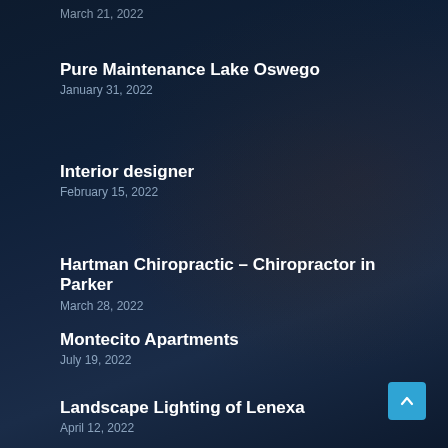March 21, 2022
Pure Maintenance Lake Oswego
January 31, 2022
Interior designer
February 15, 2022
Hartman Chiropractic – Chiropractor in Parker
March 28, 2022
Montecito Apartments
July 19, 2022
Landscape Lighting of Lenexa
April 12, 2022